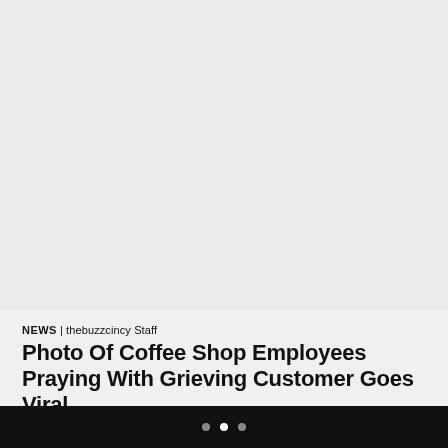[Figure (photo): Large image placeholder area, light gray background, appears to be a photo not fully visible]
NEWS | thebuzzcincy Staff
Photo Of Coffee Shop Employees Praying With Grieving Customer Goes Viral
Sometimes, we all need someone to lean on. A group of employees from a Washington coffee shop provided that i…